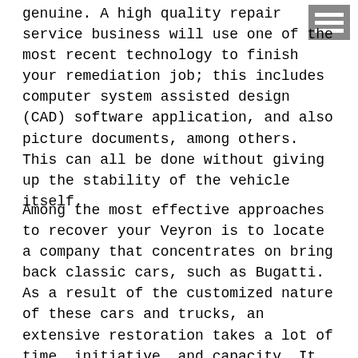genuine. A high quality repair service business will use one of the most recent technology to finish your remediation job; this includes computer system assisted design (CAD) software application, and also picture documents, among others. This can all be done without giving up the stability of the vehicle itself.
Among the most effective approaches to recover your Veyron is to locate a company that concentrates on bring back classic cars, such as Bugatti. As a result of the customized nature of these cars and trucks, an extensive restoration takes a lot of time, initiative, and capacity. It is best